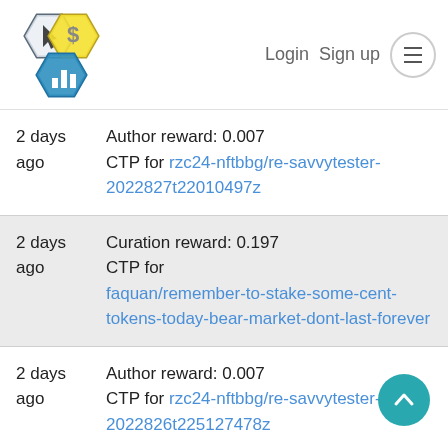Login  Sign up
2 days ago  Author reward: 0.007 CTP for rzc24-nftbbg/re-savvytester-2022827t22010497z
2 days ago  Curation reward: 0.197 CTP for faquan/remember-to-stake-some-cent-tokens-today-bear-market-dont-last-forever
2 days ago  Author reward: 0.007 CTP for rzc24-nftbbg/re-savvytester-2022826t225127478z